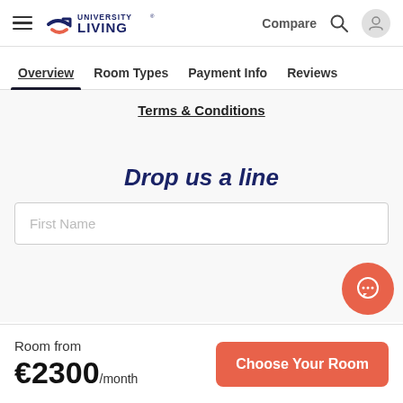University Living — Compare
Overview | Room Types | Payment Info | Reviews
Terms & Conditions
Drop us a line
First Name
Room from
€2300/month
Choose Your Room